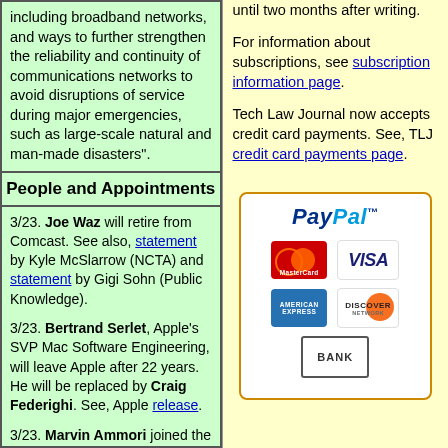including broadband networks, and ways to further strengthen the reliability and continuity of communications networks to avoid disruptions of service during major emergencies, such as large-scale natural and man-made disasters".
People and Appointments
3/23. Joe Waz will retire from Comcast. See also, statement by Kyle McSlarrow (NCTA) and statement by Gigi Sohn (Public Knowledge).
3/23. Bertrand Serlet, Apple's SVP Mac Software Engineering, will leave Apple after 22 years. He will be replaced by Craig Federighi. See, Apple release.
3/23. Marvin Ammori joined the New America Foundation (NAF) as a Legal Fellow. See, NAF
until two months after writing.

For information about subscriptions, see subscription information page.

Tech Law Journal now accepts credit card payments. See, TLJ credit card payments page.
[Figure (logo): PayPal payment options image showing PayPal logo and accepted credit cards: MasterCard, Visa, American Express, Discover, and Bank transfer]